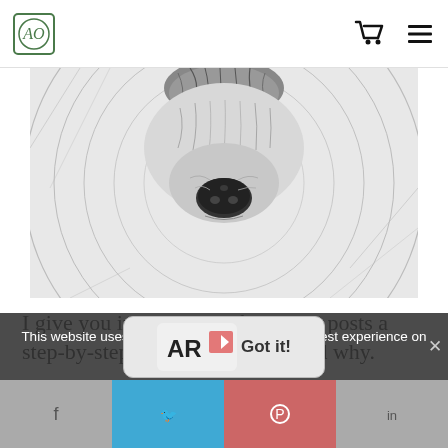Logo and navigation icons (cart, list)
[Figure (illustration): Pencil sketch drawing of a bear's snout/nose area with textured fur and circular background lines]
I give you in this and in following posts a step-by-step view of what I do and why.
This website uses cookies to ensure you get the best experience on our website.
Continue Reading
Got it!